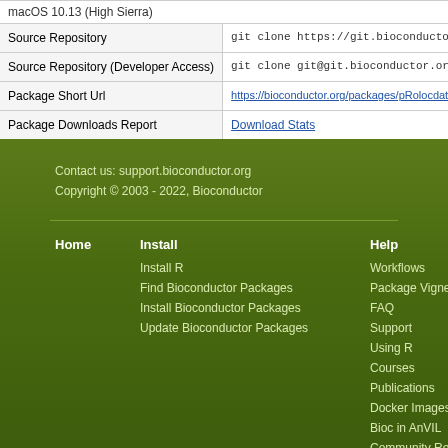| Field | Value |
| --- | --- |
| macOS 10.13 (High Sierra) |  |
| Source Repository | git clone https://git.bioconductor.org/packages/ |
| Source Repository (Developer Access) | git clone git@git.bioconductor.org:packages/pR |
| Package Short Url | https://bioconductor.org/packages/pRolocdata |
| Package Downloads Report | Download Stats |
Contact us: support.bioconductor.org
Copyright © 2003 - 2022, Bioconductor
Home
Install
Install R
Find Bioconductor Packages
Install Bioconductor Packages
Update Bioconductor Packages
Help
Workflows
Package Vignettes
FAQ
Support
Using R
Courses
Publications
Docker Images
Bioc in AnVIL
Community Resources